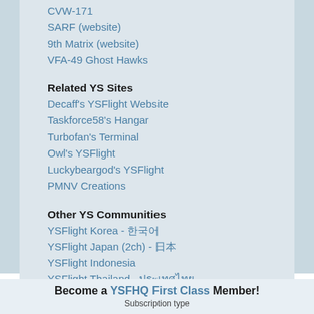CVW-171
SARF (website)
9th Matrix (website)
VFA-49 Ghost Hawks
Related YS Sites
Decaff's YSFlight Website
Taskforce58's Hangar
Turbofan's Terminal
Owl's YSFlight
Luckybeargod's YSFlight
PMNV Creations
Other YS Communities
YSFlight Korea - 한국어
YSFlight Japan (2ch) - 日本
YSFlight Indonesia
YSFlight Thailand - ประเทศไทย
Site Info
Site/Forum Rules
Site Contacts
Site Status
Become a YSFHQ First Class Member! Subscription type